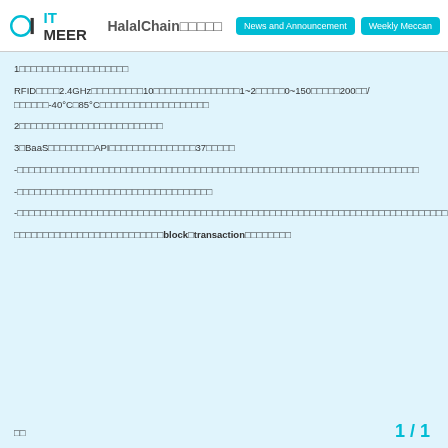HalalChain□□□□□ | IT MEER | News and Announcement | Weekly Mecan
1□□□□□□□□□□□□□□□□□□□
RFID□□□□2.4GHz□□□□□□□□□10□□□□□□□□□□□□□□□1~2□□□□□0~150□□□□□200□□/□□□□□□-40°C□85°C□□□□□□□□□□□□□□□□□□□
2□□□□□□□□□□□□□□□□□□□□□□□□□
3□BaaS□□□□□□□□API□□□□□□□□□□□□□□□37□□□□□
-□□□□□□□□□□□□□□□□□□□□□□□□□□□□□□□□□□□□□□□□□□□□□□□□□□□□□□□□□□□□□□□□□□□□□□
-□□□□□□□□□□□□□□□□□□□□□□□□□□□□□□□□□□
-□□□□□□□□□□□□□□□□□□□□□□□□□□□□□□□□□□□□□□□□□□□□□□□□□□□□□□□□□□□□□□□□□□□□□□□□□□□
□□□□□□□□□□□□□□□□□□□□□□□□□□block□transaction□□□□□□□□
□□  1 / 1